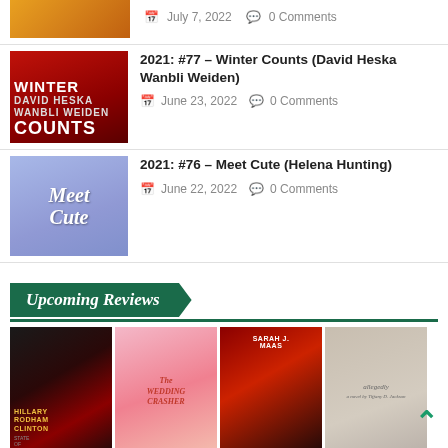[Figure (other): Partial book cover - orange/gold colored book cover at top]
July 7, 2022   0 Comments
[Figure (other): Winter Counts book cover by David Heska Wanbli Weiden - red cover]
2021: #77 – Winter Counts (David Heska Wanbli Weiden)
June 23, 2022   0 Comments
[Figure (other): Meet Cute book cover by Helena Hunting - blue/illustrated cover]
2021: #76 – Meet Cute (Helena Hunting)
June 22, 2022   0 Comments
Upcoming Reviews
[Figure (other): Four upcoming book covers: Hillary Rodham Clinton State of Terror, The Wedding Crasher, Sarah J. Maas book, and Allegedly by Tiffany D. Jackson]